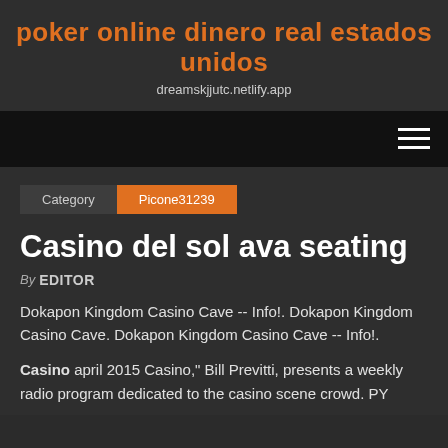poker online dinero real estados unidos
dreamskjjutc.netlify.app
[Figure (other): Navigation bar with hamburger menu icon (three horizontal white lines) on dark/black background]
Category   Picone31239
Casino del sol ava seating
By EDITOR
Dokapon Kingdom Casino Cave -- Info!. Dokapon Kingdom Casino Cave. Dokapon Kingdom Casino Cave -- Info!.
Casino april 2015 Casino," Bill Previtti, presents a weekly radio program dedicated to the casino scene crowd. PY